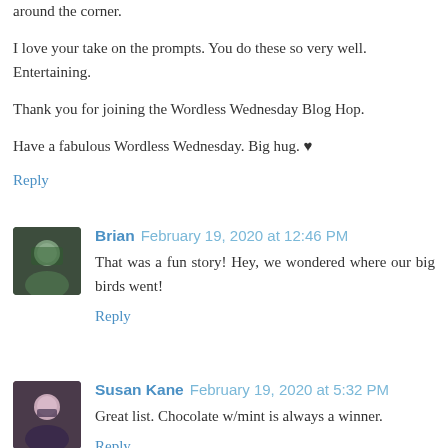around the corner.
I love your take on the prompts. You do these so very well. Entertaining.
Thank you for joining the Wordless Wednesday Blog Hop.
Have a fabulous Wordless Wednesday. Big hug. ♥
Reply
Brian  February 19, 2020 at 12:46 PM
That was a fun story! Hey, we wondered where our big birds went!
Reply
Susan Kane  February 19, 2020 at 5:32 PM
Great list. Chocolate w/mint is always a winner.
Reply